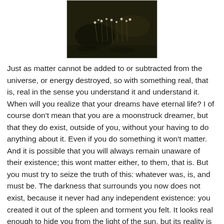[Figure (photo): A dark photograph showing what appears to be small flowering plants or vegetation on dark ground, centered at the top of the page.]
Just as matter cannot be added to or subtracted from the universe, or energy destroyed, so with something real, that is, real in the sense you understand it and understand it. When will you realize that your dreams have eternal life? I of course don't mean that you are a moonstruck dreamer, but that they do exist, outside of you, without your having to do anything about it. Even if you do something it won't matter. And it is possible that you will always remain unaware of their existence; this wont matter either, to them, that is. But you must try to seize the truth of this: whatever was, is, and must be. The darkness that surrounds you now does not exist, because it never had any independent existence: you created it out of the spleen and torment you felt. It looks real enough to hide you from the light of the sun, but its reality is as specious as that and a mirage. The clouds are dispersing. And nothing comes to take their place, to interpose itself between you and the reality which you dreamed and is therefore real. This you can see, not in the denying